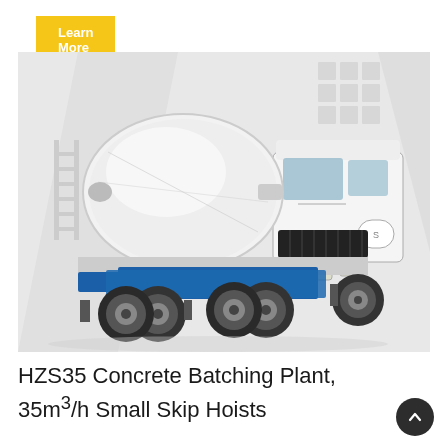Learn More
[Figure (photo): White concrete mixer truck (SHACMAN brand) with blue undercarriage and large rotating drum, photographed against a light grey geometric background]
HZS35 Concrete Batching Plant, 35m³/h Small Skip Hoists